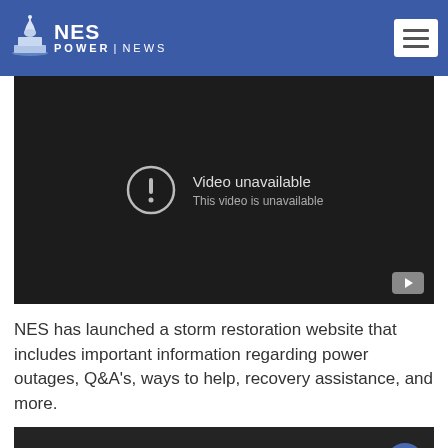NES POWER | NEWS
[Figure (screenshot): Embedded video player showing 'Video unavailable - This video is unavailable' message on a dark background with YouTube icon in bottom right corner]
NES has launched a storm restoration website that includes important information regarding power outages, Q&A's, ways to help, recovery assistance, and more.
[Figure (screenshot): Second embedded video player with dark background and a blue scroll-to-top button with upward arrow in bottom right]